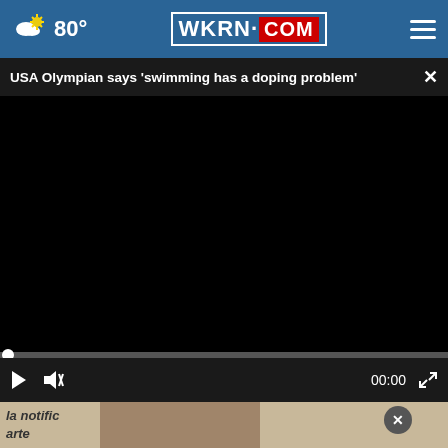80° WKRN.COM
USA Olympian says 'swimming has a doping problem'
[Figure (screenshot): Black video player area showing a paused video with progress bar at start and playback controls including play button, mute button, timecode 00:00, and fullscreen button]
[Figure (photo): Partial view of a person's head/face in the bottom image area with text overlay reading 'la notific' and 'arte', with a World Outreach Church advertisement banner showing 'SUNDAY 10 AM']